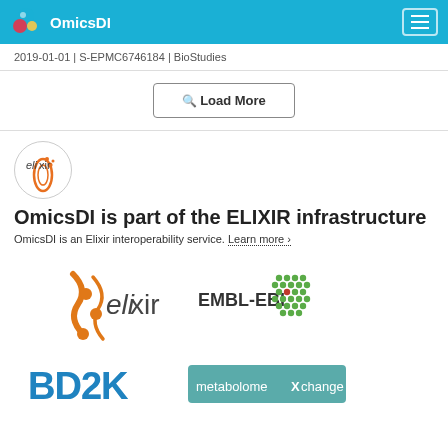OmicsDI
2019-01-01 | S-EPMC6746184 | BioStudies
Load More
OmicsDI is part of the ELIXIR infrastructure
OmicsDI is an Elixir interoperability service. Learn more ›
[Figure (logo): ELIXIR logo (large orange DNA helix with text 'elixir')]
[Figure (logo): EMBL-EBI logo with green hexagonal dot pattern]
[Figure (logo): BD2K logo in stylized blue/teal text]
[Figure (logo): metabolomeXchange logo in teal rectangle]